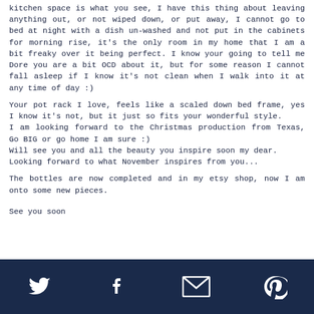kitchen space is what you see, I have this thing about leaving anything out, or not wiped down, or put away, I cannot go to bed at night with a dish un-washed and not put in the cabinets for morning rise, it's the only room in my home that I am a bit freaky over it being perfect. I know your going to tell me Dore you are a bit OCD about it, but for some reason I cannot fall asleep if I know it's not clean when I walk into it at any time of day :)
Your pot rack I love, feels like a scaled down bed frame, yes I know it's not, but it just so fits your wonderful style.
I am looking forward to the Christmas production from Texas, Go BIG or go home I am sure :)
Will see you and all the beauty you inspire soon my dear.
Looking forward to what November inspires from you...
The bottles are now completed and in my etsy shop, now I am onto some new pieces.
See you soon
social icons: twitter, facebook, email, pinterest